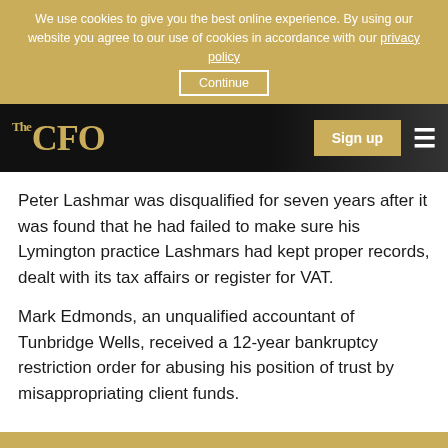We use cookies to give you the best online experience. By using our website you agree to our use of cookies in accordance with our privacy policy Continue
[Figure (logo): The CFO logo in gold on black navigation bar with Sign up button and hamburger menu]
Peter Lashmar was disqualified for seven years after it was found that he had failed to make sure his Lymington practice Lashmars had kept proper records, dealt with its tax affairs or register for VAT.
Mark Edmonds, an unqualified accountant of Tunbridge Wells, received a 12-year bankruptcy restriction order for abusing his position of trust by misappropriating client funds.
Sign up to our Newsletter